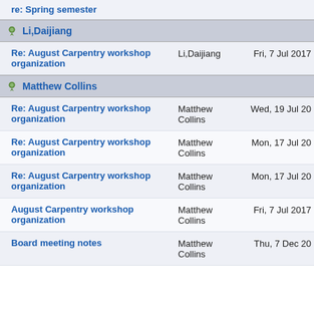re: Spring semester
Li,Daijiang
Re: August Carpentry workshop organization | Li,Daijiang | Fri, 7 Jul 2017
Matthew Collins
Re: August Carpentry workshop organization | Matthew Collins | Wed, 19 Jul 20
Re: August Carpentry workshop organization | Matthew Collins | Mon, 17 Jul 20
Re: August Carpentry workshop organization | Matthew Collins | Mon, 17 Jul 20
August Carpentry workshop organization | Matthew Collins | Fri, 7 Jul 2017
Board meeting notes | Matthew Collins | Thu, 7 Dec 20